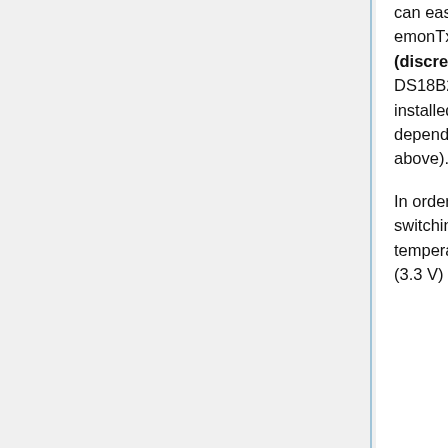can easily be connected to the emonTx V3 by connecting the sensor to the emonTx V3 screw terminal block or RJ45 connector. The default firmware (discrete sampling) supports auto-detecting one DS18B20 sensor. Multiple DS18B20s can be daisy-chained, but this will require changes to the pre-installed emonTx firmware - you may also run into power draw issues depending on how you are powering the emonTx (see Power Supply Options above).
In order to save power when running on batteries, the emonTx V3 supports switching off of the DS18B20 in-between readings and performing the temperature conversion while the ATmega328 is sleeping. To do this, power (3.3 V) is supplied to the DS18B20's power pin